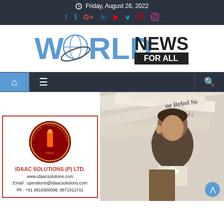Friday, August 26, 2022
[Figure (logo): World News For All logo with globe graphic]
[Figure (screenshot): Navigation bar with home icon, hamburger menu, and search icon]
[Figure (illustration): IDAAC Solutions (P) Ltd. advertisement with company logo, website www.idaacsolutions.com, Email: operations@idaacsolutions.com, Ph: +91 9818300098, 9871911741]
[Figure (photo): Man in suit standing in front of newspaper background]